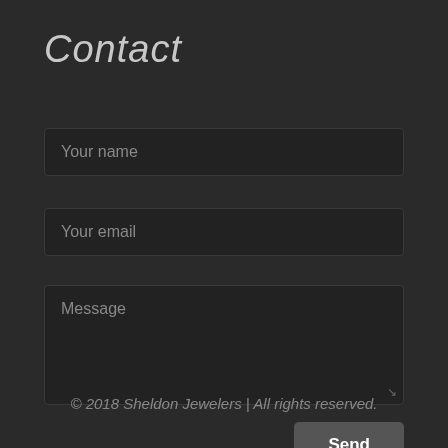Contact
Your name
Your email
Message
Send
© 2018 Sheldon Jewelers | All rights reserved.